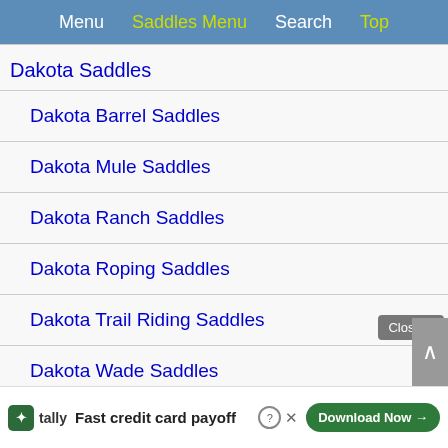Menu  Saddles Menu  Search  Top
Dakota Saddles
Dakota Barrel Saddles
Dakota Mule Saddles
Dakota Ranch Saddles
Dakota Roping Saddles
Dakota Trail Riding Saddles
Dakota Wade Saddles
Draft Horse Saddles
Double J Pozzi Pro Barrel Saddles
Fast credit card payoff
Download Now →